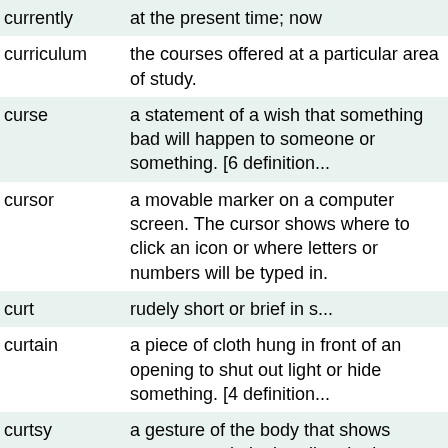| Word | Definition |
| --- | --- |
| currently | at the present time; now |
| curriculum | the courses offered at a particular area of study. |
| curse | a statement of a wish that something bad will happen to someone or something. [6 definition... |
| cursor | a movable marker on a computer screen. The cursor shows where to click an icon or where letters or numbers will be typed in. |
| curt | rudely short or brief in s... |
| curtain | a piece of cloth hung in front of an opening to shut out light or hide something. [4 definition... |
| curtsy | a gesture of the body that shows respect, made by bending the knees and lowering the body slightly. A curtsy is used by women and girls. [2... |
| curve | a line that bends smoothly without any straight par... |